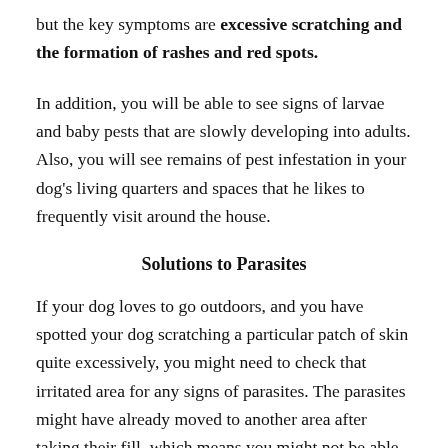but the key symptoms are excessive scratching and the formation of rashes and red spots.
In addition, you will be able to see signs of larvae and baby pests that are slowly developing into adults. Also, you will see remains of pest infestation in your dog's living quarters and spaces that he likes to frequently visit around the house.
Solutions to Parasites
If your dog loves to go outdoors, and you have spotted your dog scratching a particular patch of skin quite excessively, you might need to check that irritated area for any signs of parasites. The parasites might have already moved to another area after taking their fill, which means you might not be able to spot them.